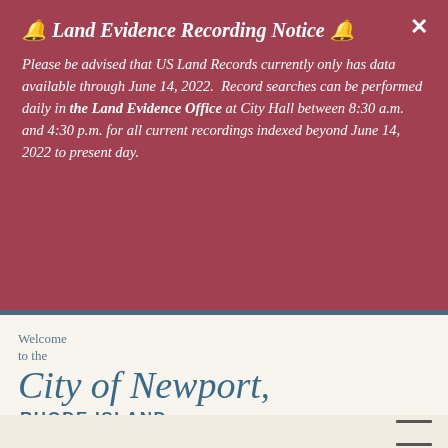🔔 Land Evidence Recording Notice 🔔
Please be advised that US Land Records currently only has data available through June 14, 2022.  Record searches can be performed daily in the Land Evidence Office at City Hall between 8:30 a.m. and 4:30 p.m. for all current recordings indexed beyond June 14, 2022 to present day.
English ▼
Welcome to the City of Newport, RHODE ISLAND